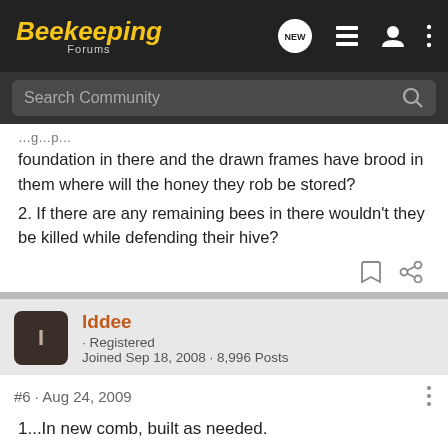Beekeeping Forums
foundation in there and the drawn frames have brood in them where will the honey they rob be stored?
2. If there are any remaining bees in there wouldn't they be killed while defending their hive?
lddee · Registered
Joined Sep 18, 2008 · 8,996 Posts
#6 · Aug 24, 2009
1...In new comb, built as needed.
2. Bees only, likely. Brood will be cared for.